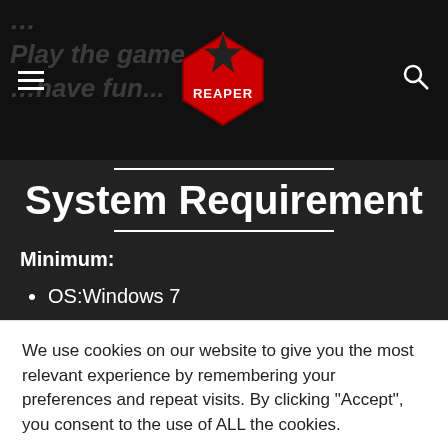Play the game... have fun...
System Requirement
Minimum:
OS:Windows 7
We use cookies on our website to give you the most relevant experience by remembering your preferences and repeat visits. By clicking “Accept”, you consent to the use of ALL the cookies.
Cookie settings
ACCEPT